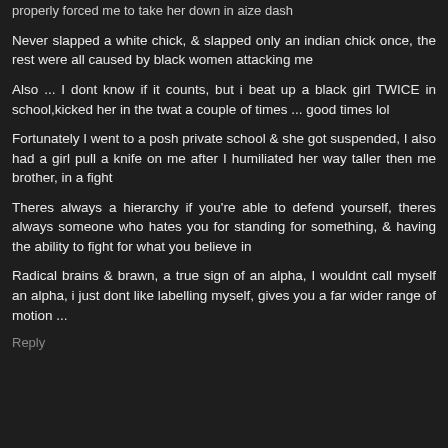properly forced me to take her down in self dash
Never slapped a white chick, & slapped only an indian chick once, the rest were all caused by black women attacking me
Also ... I dont know if it counts, but i beat up a black girl TWICE in school,kicked her in the twat a couple of times ... good times lol
Fortunately I went to a posh private school & she got suspended, I also had a girl pull a knife on me after I humiliated her way taller then me brother, in a fight
Theres always a hierarchy if you're able to defend yourself, theres always someone who hates you for standing for something, & having the ability to fight for what you believe in
Radical brains & brawn, a true sign of an alpha, I wouldnt call myself an alpha, i just dont like labelling myself, gives you a far wider range of motion ...
Reply